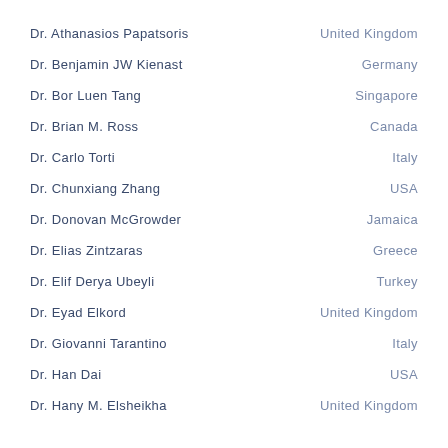Dr. Athanasios Papatsoris — United Kingdom
Dr. Benjamin JW Kienast — Germany
Dr. Bor Luen Tang — Singapore
Dr. Brian M. Ross — Canada
Dr. Carlo Torti — Italy
Dr. Chunxiang Zhang — USA
Dr. Donovan McGrowder — Jamaica
Dr. Elias Zintzaras — Greece
Dr. Elif Derya Ubeyli — Turkey
Dr. Eyad Elkord — United Kingdom
Dr. Giovanni Tarantino — Italy
Dr. Han Dai — USA
Dr. Hany M. Elsheikha — United Kingdom